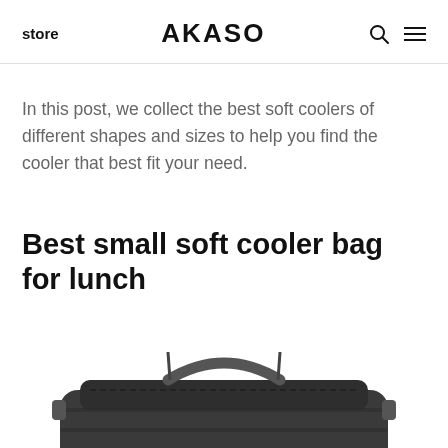store  AKASO
In this post, we collect the best soft coolers of different shapes and sizes to help you find the cooler that best fit your need.
Best small soft cooler bag for lunch
[Figure (photo): Partial view of a dark soft cooler bag with a strap visible at the bottom of the page]